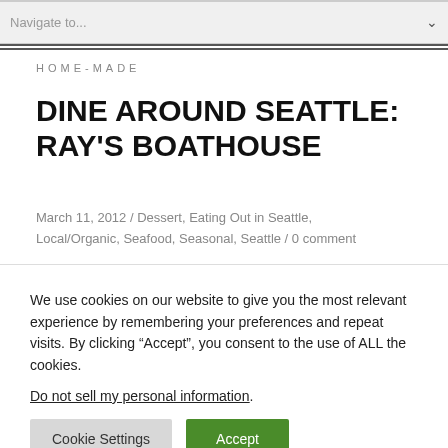Navigate to...
HOME-MADE
DINE AROUND SEATTLE: RAY'S BOATHOUSE
March 11, 2012 / Dessert, Eating Out in Seattle, Local/Organic, Seafood, Seasonal, Seattle / 0 comment
We use cookies on our website to give you the most relevant experience by remembering your preferences and repeat visits. By clicking “Accept”, you consent to the use of ALL the cookies.
Do not sell my personal information.